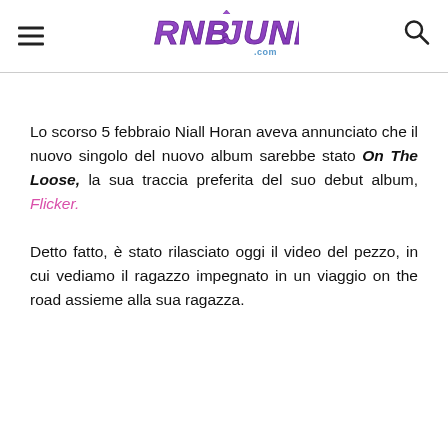RNBJUNK.com
Lo scorso 5 febbraio Niall Horan aveva annunciato che il nuovo singolo del nuovo album sarebbe stato On The Loose, la sua traccia preferita del suo debut album, Flicker.
Detto fatto, è stato rilasciato oggi il video del pezzo, in cui vediamo il ragazzo impegnato in un viaggio on the road assieme alla sua ragazza.